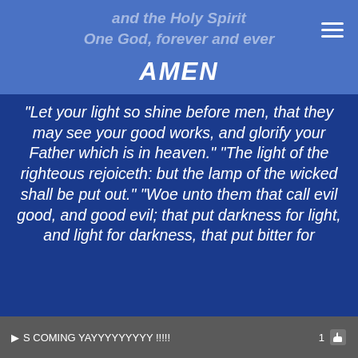and the Holy Spirit
One God, forever and ever
AMEN
“Let your light so shine before men, that they may see your good works, and glorify your Father which is in heaven.” “The light of the righteous rejoiceth: but the lamp of the wicked shall be put out.” “Woe unto them that call evil good, and good evil; that put darkness for light, and light for darkness, that put bitter for
S COMING YAYYYYYYYYY !!!!! 1